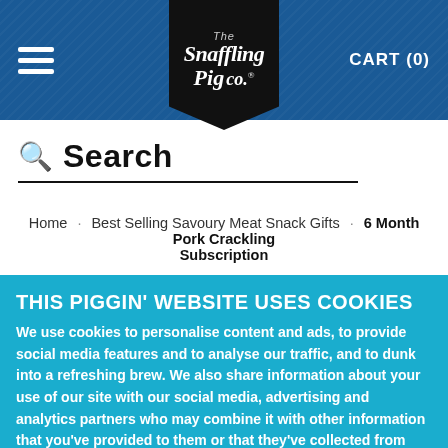The Snaffling Pig Co. — CART (0)
Search
Home · Best Selling Savoury Meat Snack Gifts · 6 Month Pork Crackling Subscription
THIS PIGGIN' WEBSITE USES COOKIES
We use cookies to personalise content and ads, to provide social media features and to analyse our traffic, and to dunk into a refreshing brew. We also share information about your use of our site with our social media, advertising and analytics partners who may combine it with other information that you've provided to them or that they've collected from your use of their services.